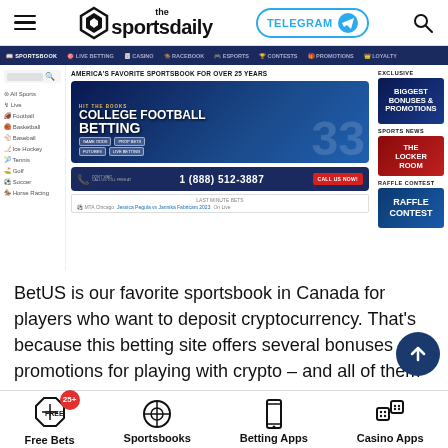[Figure (screenshot): The Sports Daily website header with hamburger menu, logo, Telegram button, and search icon]
[Figure (screenshot): BetUS sportsbook website screenshot showing navigation bar, College Football Betting hero banner, phone number bar (1 888 512-3887), last bets row, and right sidebar with Biggest Bonuses & Promotions, Locker Room sports news, and Raffle Contest panels]
BetUS is our favorite sportsbook in Canada for players who want to deposit cryptocurrency. That's because this betting site offers several bonuses and promotions for playing with crypto – and all of them are enormous.
[Figure (infographic): Bottom navigation bar with four icons: Free Bets (with 25+ badge), Sportsbooks, Betting Apps, Casino Apps]